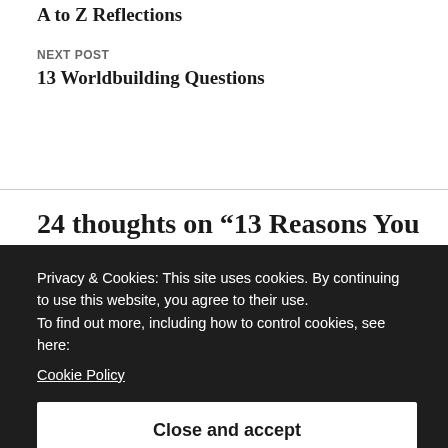A to Z Reflections
NEXT POST
13 Worldbuilding Questions
24 thoughts on “13 Reasons You
Privacy & Cookies: This site uses cookies. By continuing to use this website, you agree to their use.
To find out more, including how to control cookies, see here:
Cookie Policy
Close and accept
*Like* Great post.